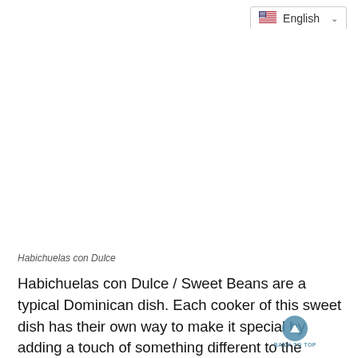[Figure (screenshot): Language selector dropdown showing US flag and 'English' text with a chevron/dropdown arrow, positioned in the top right]
[Figure (photo): Photo of Habichuelas con Dulce dish (large white/blank area representing the image)]
Habichuelas con Dulce
Habichuelas con Dulce / Sweet Beans are a typical Dominican dish. Each cooker of this sweet dish has their own way to make it special by adding a touch of something different to the traditional recipe. It is a sort of pudding but not as thick. It is made with Kidney Beans, Yam, Condensed Milk, Raisins and